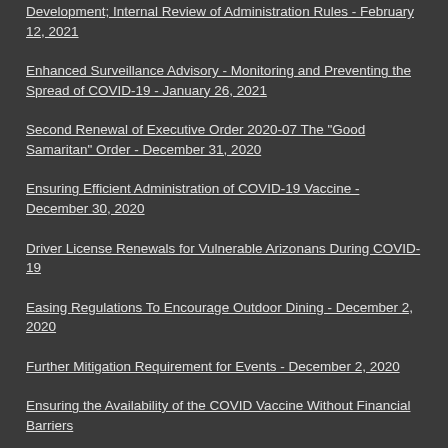Development; Internal Review of Administration Rules - February 12, 2021
Enhanced Surveillance Advisory - Monitoring and Preventing the Spread of COVID-19 - January 26, 2021
Second Renewal of Executive Order 2020-07 The "Good Samaritan" Order - December 31, 2020
Ensuring Efficient Administration of COVID-19 Vaccine - December 30, 2020
Driver License Renewals for Vulnerable Arizonans During COVID-19
Easing Regulations To Encourage Outdoor Dining - December 2, 2020
Further Mitigation Requirement for Events - December 2, 2020
Ensuring the Availability of the COVID Vaccine Without Financial Barriers